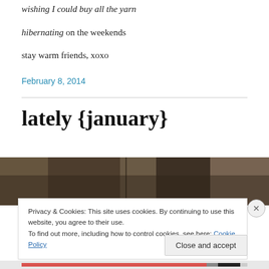wishing I could buy all the yarn
hibernating on the weekends
stay warm friends, xoxo
February 8, 2014
lately {january}
[Figure (photo): A close-up photo of knitted or woollen items in brown/tan tones]
Privacy & Cookies: This site uses cookies. By continuing to use this website, you agree to their use.
To find out more, including how to control cookies, see here: Cookie Policy
Close and accept